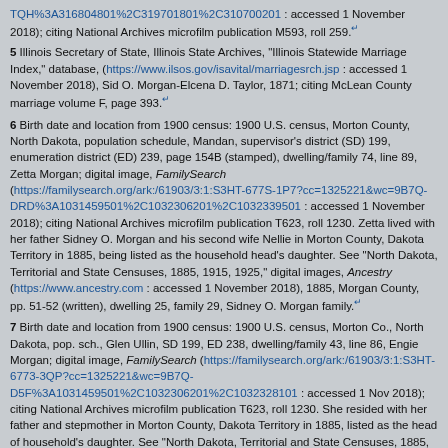TQH%3A316804801%2C319701801%2C310700201 : accessed 1 November 2018); citing National Archives microfilm publication M593, roll 259.
5 Illinois Secretary of State, Illinois State Archives, "Illinois Statewide Marriage Index," database, (https://www.ilsos.gov/isavital/marriagesrch.jsp : accessed 1 November 2018), Sid O. Morgan-Elcena D. Taylor, 1871; citing McLean County marriage volume F, page 393.
6 Birth date and location from 1900 census: 1900 U.S. census, Morton County, North Dakota, population schedule, Mandan, supervisor's district (SD) 199, enumeration district (ED) 239, page 154B (stamped), dwelling/family 74, line 89, Zetta Morgan; digital image, FamilySearch (https://familysearch.org/ark:/61903/3:1:S3HT-677S-1P7?cc=1325221&wc=9B7Q-DRD%3A1031459501%2C1032306201%2C1032339501 : accessed 1 November 2018); citing National Archives microfilm publication T623, roll 1230. Zetta lived with her father Sidney O. Morgan and his second wife Nellie in Morton County, Dakota Territory in 1885, being listed as the household head's daughter. See "North Dakota, Territorial and State Censuses, 1885, 1915, 1925," digital images, Ancestry (https://www.ancestry.com : accessed 1 November 2018), 1885, Morgan County, pp. 51-52 (written), dwelling 25, family 29, Sidney O. Morgan family.
7 Birth date and location from 1900 census: 1900 U.S. census, Morton Co., North Dakota, pop. sch., Glen Ullin, SD 199, ED 238, dwelling/family 43, line 86, Engie Morgan; digital image, FamilySearch (https://familysearch.org/ark:/61903/3:1:S3HT-6773-3QP?cc=1325221&wc=9B7Q-D5F%3A1031459501%2C1032306201%2C1032328101 : accessed 1 Nov 2018); citing National Archives microfilm publication T623, roll 1230. She resided with her father and stepmother in Morton County, Dakota Territory in 1885, listed as the head of household's daughter. See "North Dakota, Territorial and State Censuses, 1885, 1915, 1925," Morgan Co., pp. 51-52 (written),